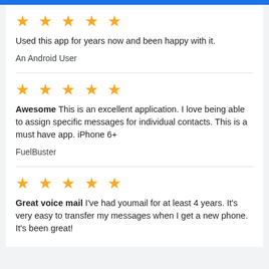★★★★★
Used this app for years now and been happy with it.
An Android User
★★★★★
Awesome This is an excellent application. I love being able to assign specific messages for individual contacts. This is a must have app. iPhone 6+
FuelBuster
★★★★★
Great voice mail I've had youmail for at least 4 years. It's very easy to transfer my messages when I get a new phone. It's been great!